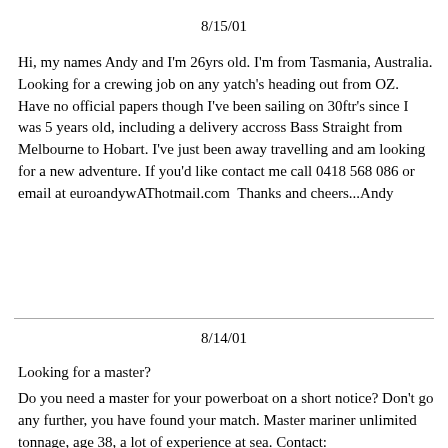8/15/01
Hi, my names Andy and I'm 26yrs old. I'm from Tasmania, Australia. Looking for a crewing job on any yatch's heading out from OZ. Have no official papers though I've been sailing on 30ftr's since I was 5 years old, including a delivery accross Bass Straight from Melbourne to Hobart. I've just been away travelling and am looking for a new adventure. If you'd like contact me call 0418 568 086 or email at euroandywAThotmail.com  Thanks and cheers...Andy
8/14/01
Looking for a master?
Do you need a master for your powerboat on a short notice? Don't go any further, you have found your match. Master mariner unlimited tonnage, age 38, a lot of experience at sea. Contact: ehoysAThotmail.com